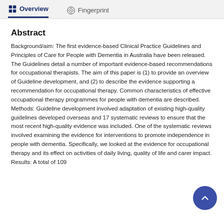Overview  Fingerprint
Abstract
Background/aim: The first evidence-based Clinical Practice Guidelines and Principles of Care for People with Dementia in Australia have been released. The Guidelines detail a number of important evidence-based recommendations for occupational therapists. The aim of this paper is (1) to provide an overview of Guideline development, and (2) to describe the evidence supporting a recommendation for occupational therapy. Common characteristics of effective occupational therapy programmes for people with dementia are described. Methods: Guideline development involved adaptation of existing high-quality guidelines developed overseas and 17 systematic reviews to ensure that the most recent high-quality evidence was included. One of the systematic reviews involved examining the evidence for interventions to promote independence in people with dementia. Specifically, we looked at the evidence for occupational therapy and its effect on activities of daily living, quality of life and carer impact. Results: A total of 109